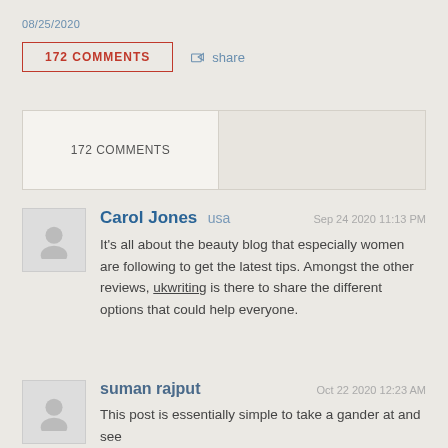08/25/2020
172 COMMENTS   share
172 COMMENTS
Carol Jones usa   Sep 24 2020 11:13 PM
It's all about the beauty blog that especially women are following to get the latest tips. Amongst the other reviews, ukwriting is there to share the different options that could help everyone.
suman rajput   Oct 22 2020 12:23 AM
This post is essentially simple to take a gander at and see